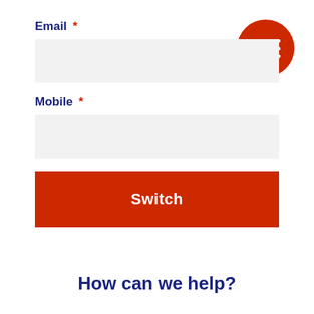Email *
[Figure (other): Empty email input field with light gray background]
Mobile *
[Figure (other): Empty mobile input field with light gray background]
[Figure (other): Red circle button with three white horizontal lines (hamburger/menu icon)]
[Figure (other): Red Switch button]
How can we help?